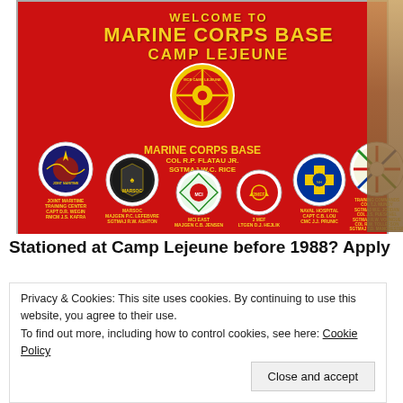[Figure (photo): Photograph of the Welcome to Marine Corps Base Camp Lejeune sign — a large red sign with gold text reading 'WELCOME TO MARINE CORPS BASE CAMP LEJEUNE', featuring multiple unit emblems/seals including Marine Corps Base, Joint Maritime Training Center, MARSOC, MCI East, 2 MEF, Naval Hospital, and Training Commands. Trees visible on right edge.]
Stationed at Camp Lejeune before 1988? Apply
Privacy & Cookies: This site uses cookies. By continuing to use this website, you agree to their use.
To find out more, including how to control cookies, see here: Cookie Policy